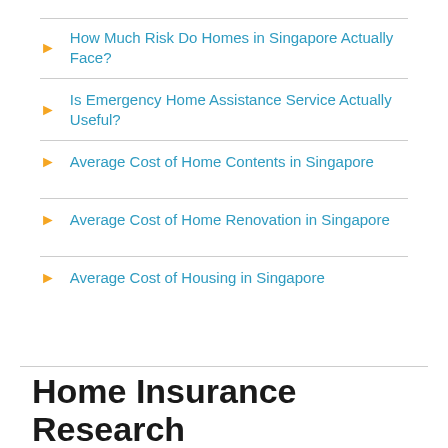How Much Risk Do Homes in Singapore Actually Face?
Is Emergency Home Assistance Service Actually Useful?
Average Cost of Home Contents in Singapore
Average Cost of Home Renovation in Singapore
Average Cost of Housing in Singapore
Home Insurance Research